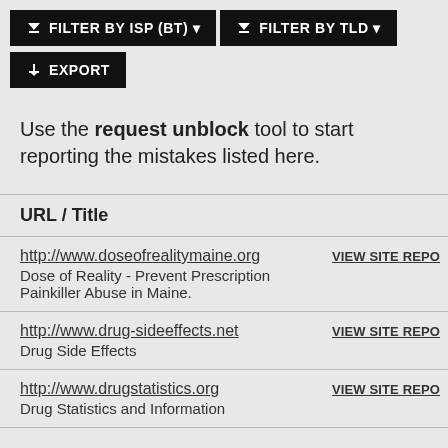[Figure (screenshot): Filter by ISP (BT) button with funnel icon]
[Figure (screenshot): Filter by TLD button with funnel icon]
[Figure (screenshot): Export button with download icon]
Use the request unblock tool to start reporting the mistakes listed here.
| URL / Title |  |
| --- | --- |
| http://www.doseofrealitymaine.org
Dose of Reality - Prevent Prescription Painkiller Abuse in Maine. | VIEW SITE REPO |
| http://www.drug-sideeffects.net
Drug Side Effects | VIEW SITE REPO |
| http://www.drugstatistics.org
Drug Statistics and Information | VIEW SITE REPO |